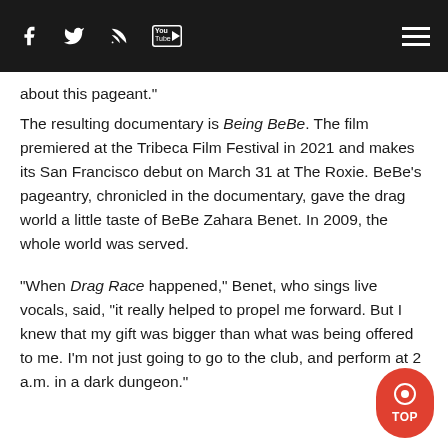f [facebook icon] [twitter icon] [rss icon] [youtube icon] [hamburger menu]
about this pageant."
The resulting documentary is Being BeBe. The film premiered at the Tribeca Film Festival in 2021 and makes its San Francisco debut on March 31 at The Roxie. BeBe's pageantry, chronicled in the documentary, gave the drag world a little taste of BeBe Zahara Benet. In 2009, the whole world was served.
"When Drag Race happened," Benet, who sings live vocals, said, "it really helped to propel me forward. But I knew that my gift was bigger than what was being offered to me. I'm not just going to go to the club, and perform at 2 a.m. in a dark dungeon."